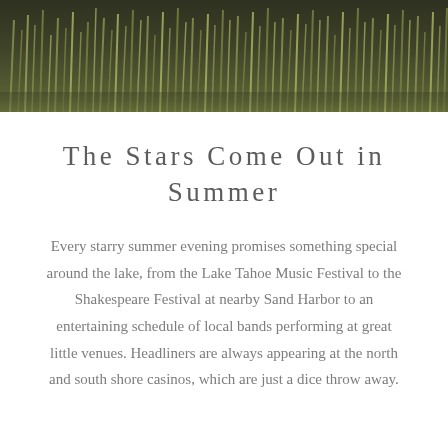[Figure (photo): A full-width photograph of tall grass or reeds in a field, with dark olive and muted green tones, appearing as a natural outdoor scene at dusk or in low light.]
The Stars Come Out in Summer
Every starry summer evening promises something special around the lake, from the Lake Tahoe Music Festival to the Shakespeare Festival at nearby Sand Harbor to an entertaining schedule of local bands performing at great little venues. Headliners are always appearing at the north and south shore casinos, which are just a dice throw away.